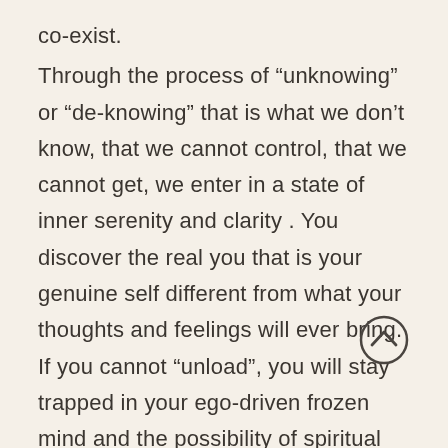co-exist.

Through the process of “unknowing” or “de-knowing” that is what we don’t know, that we cannot control, that we cannot get, we enter in a state of inner serenity and clarity . You discover the real you that is your genuine self different from what your thoughts and feelings will ever bring. If you cannot “unload”, you will stay trapped in your ego-driven frozen mind and the possibility of spiritual progress will be impossible.
Try this:
Delete, at least temporally, a few of your
[Figure (other): Circular up-arrow button icon (chevron pointing up inside a circle), dark grey stroke on light background]